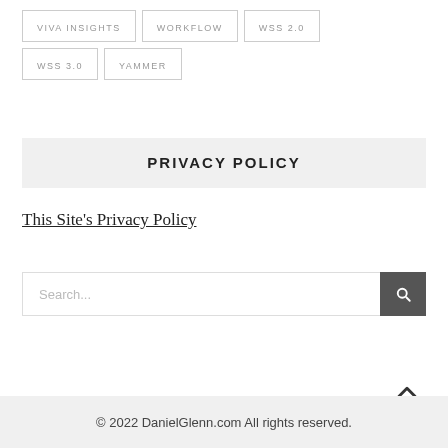VIVA INSIGHTS
WORKFLOW
WSS 2.0
WSS 3.0
YAMMER
PRIVACY POLICY
This Site's Privacy Policy
Search...
© 2022 DanielGlenn.com All rights reserved.